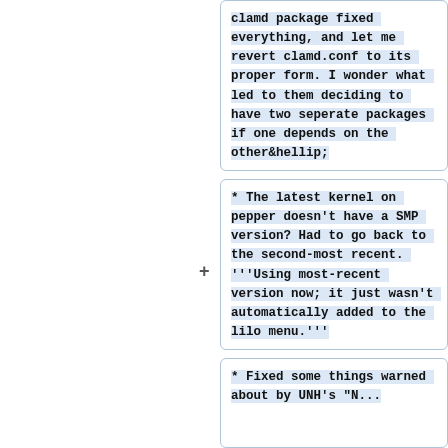clamd package fixed everything, and let me revert clamd.conf to its proper form. I wonder what led to them deciding to have two seperate packages if one depends on the other&hellip;
* The latest kernel on pepper doesn't have a SMP version? Had to go back to the second-most recent. '''Using most-recent version now; it just wasn't automatically added to the lilo menu.'''
* Fixed some things warned about by UNH's "N..."